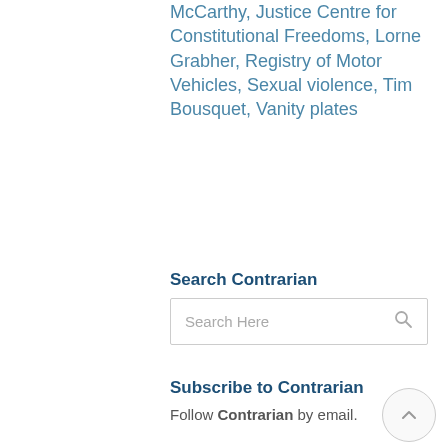McCarthy, Justice Centre for Constitutional Freedoms, Lorne Grabher, Registry of Motor Vehicles, Sexual violence, Tim Bousquet, Vanity plates
Search Contrarian
Search Here
Subscribe to Contrarian
Follow Contrarian by email.
Send Contrarian stuff
Neat stuff. Infuriating stuff. Funny stuff. Insightful stuff. Rebuttal stuff.